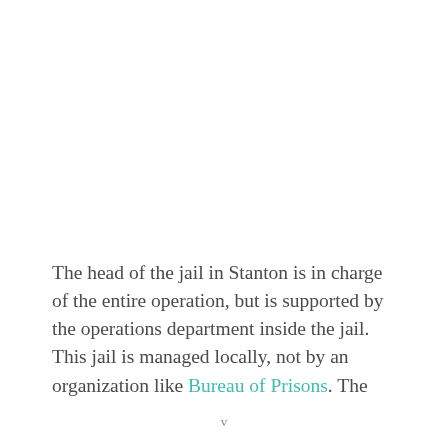The head of the jail in Stanton is in charge of the entire operation, but is supported by the operations department inside the jail. This jail is managed locally, not by an organization like Bureau of Prisons. The
v